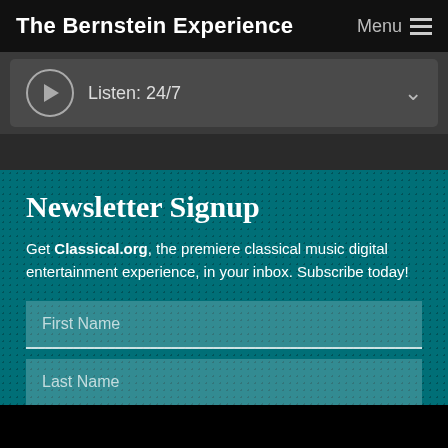The Bernstein Experience
Menu
Listen: 24/7
Newsletter Signup
Get Classical.org, the premiere classical music digital entertainment experience, in your inbox. Subscribe today!
First Name
Last Name